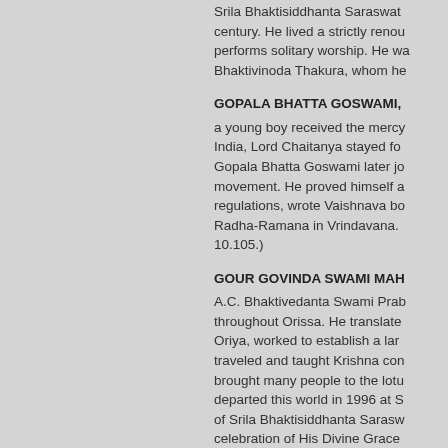Srila Bhaktisiddhanta Saraswati century. He lived a strictly renou performs solitary worship. He wa Bhaktivinoda Thakura, whom he
GOPALA BHATTA GOSWAMI,
a young boy received the mercy India, Lord Chaitanya stayed fo Gopala Bhatta Goswami later jo movement. He proved himself a regulations, wrote Vaishnava bo Radha-Ramana in Vrindavana. 10.105.)
GOUR GOVINDA SWAMI MAH
A.C. Bhaktivedanta Swami Prab throughout Orissa. He translate Oriya, worked to establish a lar traveled and taught Krishna con brought many people to the lotu departed this world in 1996 at S of Srila Bhaktisiddhanta Sarasw celebration of His Divine Grace